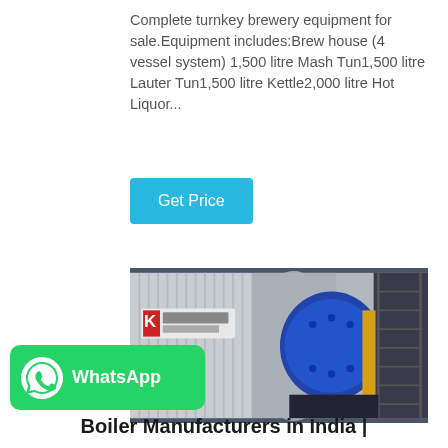Complete turnkey brewery equipment for sale.Equipment includes:Brew house (4 vessel system) 1,500 litre Mash Tun1,500 litre Lauter Tun1,500 litre Kettle2,000 litre Hot Liquor...
Get Price
[Figure (photo): Industrial boiler equipment photo showing a large blue cylindrical boiler with Chinese manufacturer signage on a corrugated metal building facade, metal staircase, yellow pipes and industrial fittings.]
[Figure (logo): WhatsApp badge with green background, WhatsApp phone icon in white circle, and text 'WhatsApp' in white bold font.]
Boiler Manufacturers in India |